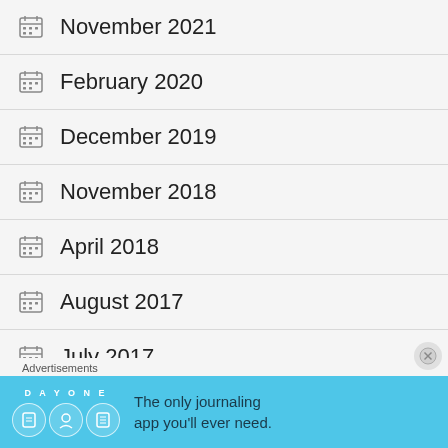November 2021
February 2020
December 2019
November 2018
April 2018
August 2017
July 2017
April 2017
Advertisements
[Figure (infographic): Day One journaling app advertisement banner with blue background showing app icons and text 'The only journaling app you'll ever need.']